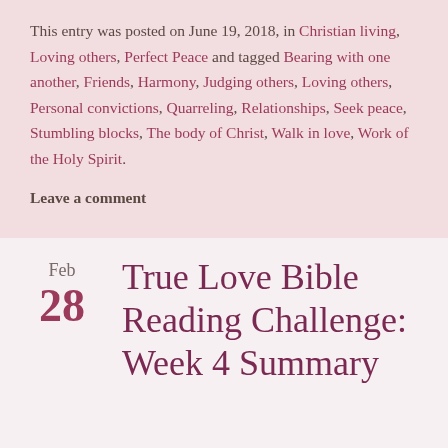This entry was posted on June 19, 2018, in Christian living, Loving others, Perfect Peace and tagged Bearing with one another, Friends, Harmony, Judging others, Loving others, Personal convictions, Quarreling, Relationships, Seek peace, Stumbling blocks, The body of Christ, Walk in love, Work of the Holy Spirit.
Leave a comment
[Figure (illustration): Decorative tilde/wave divider symbol]
True Love Bible Reading Challenge: Week 4 Summary